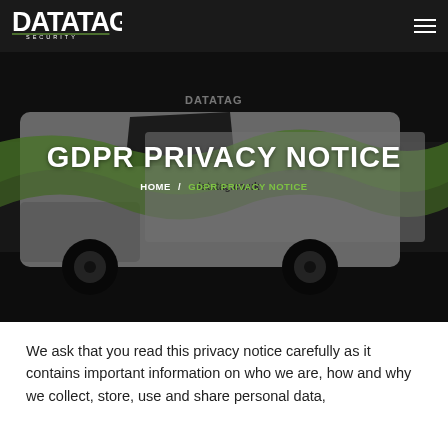[Figure (logo): Datatag Security logo in white on dark header bar]
[Figure (photo): A white van with green and grey Datatag Security branding, showing datatag.co.uk URL, viewed from front-right angle, dark overlay applied]
GDPR PRIVACY NOTICE
HOME / GDPR PRIVACY NOTICE
We ask that you read this privacy notice carefully as it contains important information on who we are, how and why we collect, store, use and share personal data,